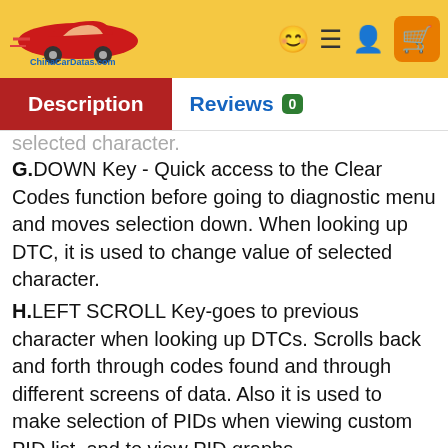ChinaCarDatas.com header with logo and icons
Description | Reviews 0
selected character.
G. DOWN Key - Quick access to the Clear Codes function before going to diagnostic menu and moves selection down. When looking up DTC, it is used to change value of selected character.
H. LEFT SCROLL Key-goes to previous character when looking up DTCs. Scrolls back and forth through codes found and through different screens of data. Also it is used to make selection of PIDs when viewing custom PID list, and to view PID graphs.
I. RIGHT SCROLL Key-goes to next character when looking up DTCs. Scrolls back and forth through codes found and through different screens of data. Also it is used to cancel all selections of PIDs when viewing custom PID list.
J. One Click I/M Readiness Key -quick checks state emissions readiness and drive cycle verification.